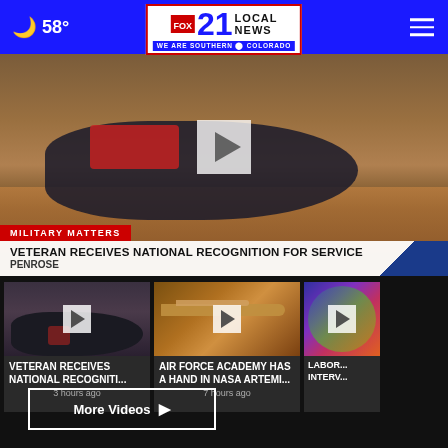58° | FOX 21 LOCAL NEWS — WE ARE SOUTHERN COLORADO
[Figure (screenshot): News video thumbnail showing a black Labrador service dog lying on a wooden floor wearing a red service vest, with a white play button overlay. Banner shows 'MILITARY MATTERS' in red and 'VETERAN RECEIVES NATIONAL RECOGNITION FOR SERVICE — PENROSE' in white on a light background with blue diagonal accent.]
[Figure (screenshot): Video thumbnail of a black Labrador service dog with play button overlay]
VETERAN RECEIVES NATIONAL RECOGNITI...
3 hours ago
[Figure (screenshot): Video thumbnail of a military jet aircraft at sunset/dusk with play button overlay]
Air Force Academy has a hand in NASA Artemi...
7 hours ago
[Figure (screenshot): Partial video thumbnail showing a colorful globe/earth image]
Labor... interv...
More Videos ▶